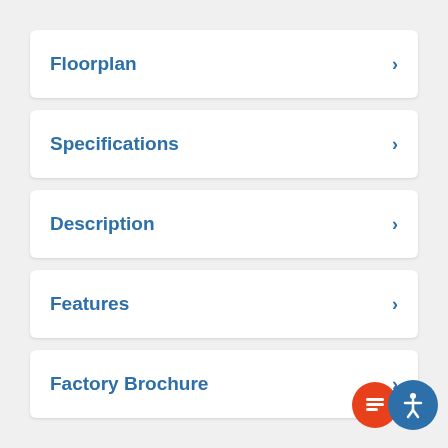Floorplan
Specifications
Description
Features
Factory Brochure